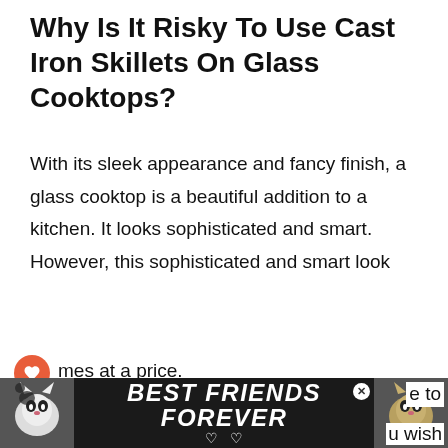Why Is It Risky To Use Cast Iron Skillets On Glass Cooktops?
With its sleek appearance and fancy finish, a glass cooktop is a beautiful addition to a kitchen. It looks sophisticated and smart. However, this sophisticated and smart look comes at a price. As the name suggests, glass cooktops are made of glass and have a smooth, glossy finish. It is more vulnerable to scratches and
[Figure (screenshot): What's Next promotional panel with thumbnail image of food on pan, label 'Can You Use Pans On A...']
[Figure (photo): Advertisement banner with two cat photos and text 'BEST FRIENDS FOREVER' with hearts]